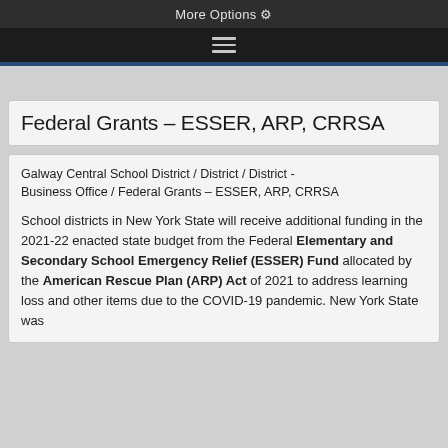More Options ⚙
Federal Grants – ESSER, ARP, CRRSA
Galway Central School District / District / District - Business Office / Federal Grants – ESSER, ARP, CRRSA
School districts in New York State will receive additional funding in the 2021-22 enacted state budget from the Federal Elementary and Secondary School Emergency Relief (ESSER) Fund allocated by the American Rescue Plan (ARP) Act of 2021 to address learning loss and other items due to the COVID-19 pandemic. New York State was